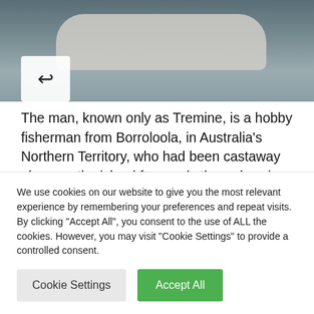[Figure (photo): Partial photo showing a person holding a fish or object, with blurred background. A share/forward button icon is visible in lower-left of the image area.]
The man, known only as Tremine, is a hobby fisherman from Borroloola, in Australia's Northern Territory, who had been castaway alone on the island for nearly three days in scorching temperatures.
Tremaine said he had reached a shore he didn't recognise and had been hit by bad heatstroke, he had
We use cookies on our website to give you the most relevant experience by remembering your preferences and repeat visits. By clicking "Accept All", you consent to the use of ALL the cookies. However, you may visit "Cookie Settings" to provide a controlled consent.